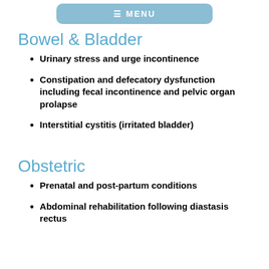≡ MENU
Bowel & Bladder
Urinary stress and urge incontinence
Constipation and defecatory dysfunction including fecal incontinence and pelvic organ prolapse
Interstitial cystitis (irritated bladder)
Obstetric
Prenatal and post-partum conditions
Abdominal rehabilitation following diastasis rectus